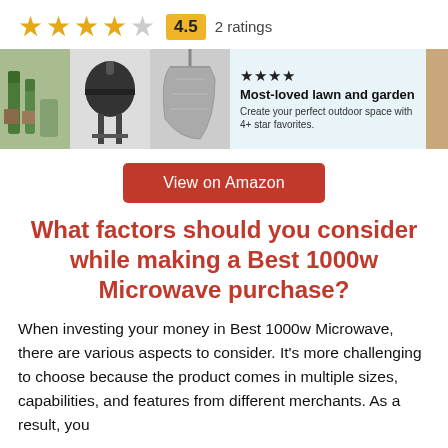[Figure (other): Star rating: 4 filled gold stars and 1 empty/gray star, rating badge showing 4.5, and '2 ratings' text]
[Figure (other): Promotional banner with lawn and garden product images (plants, grill, hammock chair), 4 stars icon, title 'Most-loved lawn and garden', subtitle 'Create your perfect outdoor space with 4+ star favorites.']
View on Amazon
What factors should you consider while making a Best 1000w Microwave purchase?
When investing your money in Best 1000w Microwave, there are various aspects to consider. It's more challenging to choose because the product comes in multiple sizes, capabilities, and features from different merchants. As a result, you